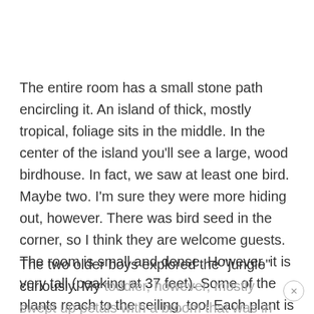The entire room has a small stone path encircling it. An island of thick, mostly tropical, foliage sits in the middle. In the center of the island you'll see a large, wood birdhouse. In fact, we saw at least one bird. Maybe two. I'm sure they were more hiding out, however. There was bird seed in the corner, so I think they are welcome guests. The room is small and dense. However, it is very tall (peaking at 37 feet). Some of the plants reach to the ceiling, too! Each plant is tagged for identification.
The two older boys explored the "jungle" curiously. My toddler, however, mostly swept up petals with a broom that was in the corner. He doesn't have a green thumb...